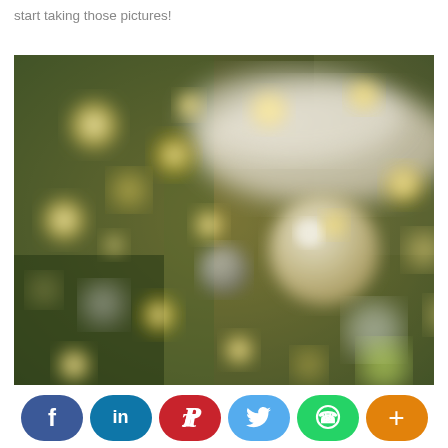start taking those pictures!
[Figure (photo): Blurred bokeh photo of a decorated Christmas tree with golden lights and ornaments including a large white/cream ball ornament and smaller silver/grey ornaments on green branches with white ribbon]
[Figure (infographic): Social media share buttons bar: Facebook (dark blue), LinkedIn (blue), Pinterest (red), Twitter (light blue), WhatsApp (green), More/Plus (orange)]